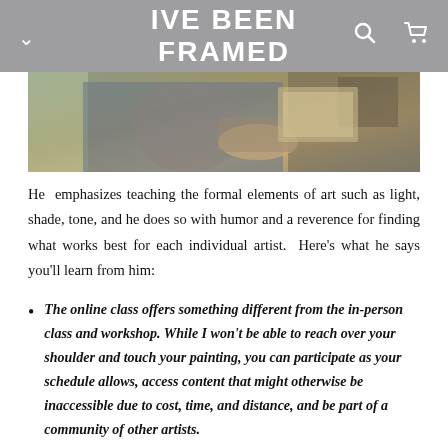IVE BEEN FRAMED
[Figure (photo): Person working on a painting or framing project in a workshop/studio setting]
He emphasizes teaching the formal elements of art such as light, shade, tone, and he does so with humor and a reverence for finding what works best for each individual artist.  Here's what he says you'll learn from him:
The online class offers something different from the in-person class and workshop. While I won't be able to reach over your shoulder and touch your painting, you can participate as your schedule allows, access content that might otherwise be inaccessible due to cost, time, and distance, and be part of a community of other artists.